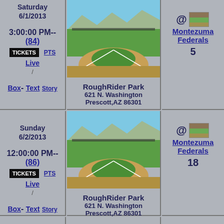Saturday 6/1/2013 3:00:00 PM--(84) TICKETS PTS Live / Box- Text Story
[Figure (photo): Baseball field / park photo - RoughRider Park]
RoughRider Park 621 N. Washington Prescott,AZ 86301
@ Montezuma Federals 5
Sunday 6/2/2013 12:00:00 PM--(86) TICKETS PTS Live / Box- Text Story
[Figure (photo): Baseball field / park photo - RoughRider Park]
RoughRider Park 621 N. Washington Prescott,AZ 86301
@ Montezuma Federals 18